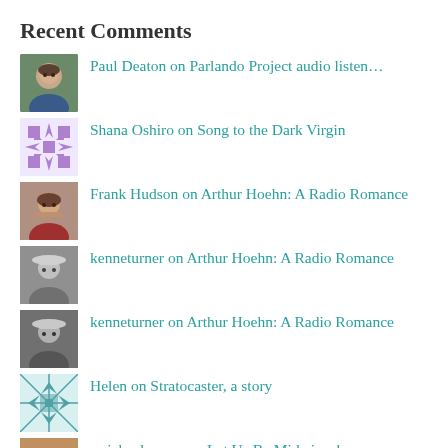Recent Comments
Paul Deaton on Parlando Project audio listen…
Shana Oshiro on Song to the Dark Virgin
Frank Hudson on Arthur Hoehn: A Radio Romance
kenneturner on Arthur Hoehn: A Radio Romance
kenneturner on Arthur Hoehn: A Radio Romance
Helen on Stratocaster, a story
rmichaelroman on Let Us Be Midwives!